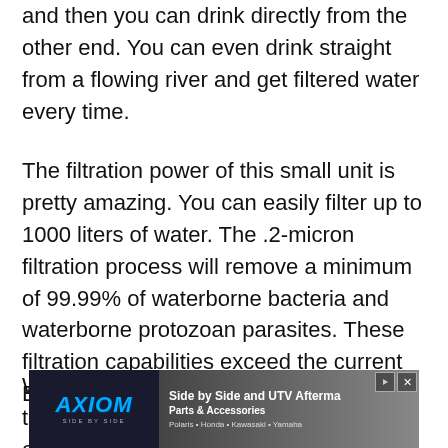and then you can drink directly from the other end. You can even drink straight from a flowing river and get filtered water every time.
The filtration power of this small unit is pretty amazing. You can easily filter up to 1000 liters of water. The .2-micron filtration process will remove a minimum of 99.99% of waterborne bacteria and waterborne protozoan parasites. These filtration capabilities exceed the current EPA filter standards.
What has made this product so unique is the fact that you can pack it away in your camping gear or
[Figure (other): Advertisement banner for AXIOM Side by Side UTV Aftermarket Parts & Accessories. Brands: Polaris, Honda, Kawasaki, Yamaha. Dark background with blue AXIOM logo on left and text on right over a terrain photo.]